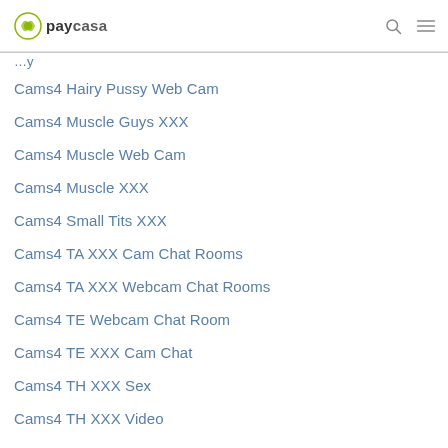paycasa
Cams4 Hairy Pussy Web Cam
Cams4 Muscle Guys XXX
Cams4 Muscle Web Cam
Cams4 Muscle XXX
Cams4 Small Tits XXX
Cams4 TA XXX Cam Chat Rooms
Cams4 TA XXX Webcam Chat Rooms
Cams4 TE Webcam Chat Room
Cams4 TE XXX Cam Chat
Cams4 TH XXX Sex
Cams4 TH XXX Video